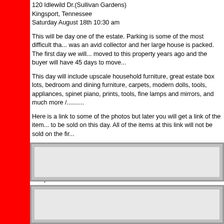120 Idlewild Dr.(Sullivan Gardens)
Kingsport, Tennessee
Saturday August 18th 10:30 am
This will be day one of the estate. Parking is some of the most difficult tha... was an avid collector and her large house is packed. The first day we will... moved to this property years ago and the buyer will have 45 days to move...
This day will include upscale household furniture, great estate box lots, bedroom and dining furniture, carpets, modern dolls, tools, appliances, spinet piano, prints, tools, fine lamps and mirrors, and much more /..........
Here is a link to some of the photos but later you will get a link of the item... to be sold on this day. All of the items at this link will not be sold on the fir...
https://www.facebook.com/pages/Kimball-M-Sterling-Inc-Auctioneers-Tfl-...
Cash or check 10% BP. Preview 9:30am. Get there early parking is really...
[Figure (photo): Image placeholder box 1 - grey bordered rectangle]
[Figure (photo): Image placeholder box 2 - grey bordered rectangle]